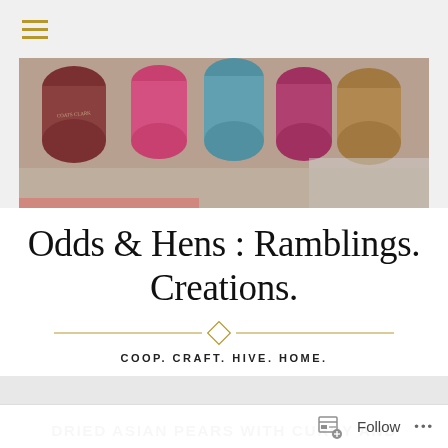[Figure (screenshot): Navigation bar with hamburger menu icon in gold/yellow on gray background]
[Figure (photo): Hero banner image showing colorful spools of thread in pink, teal, magenta, and wooden tones arranged closely together]
Odds & Hens : Ramblings. Creations.
COOP. CRAFT. HIVE. HOME.
DRIED ASIAN PEARS WITH CURRY AND CINNAMON – PRESERVING THE HARVEST
[Figure (screenshot): Follow button bar at bottom with follow icon and ellipsis menu]